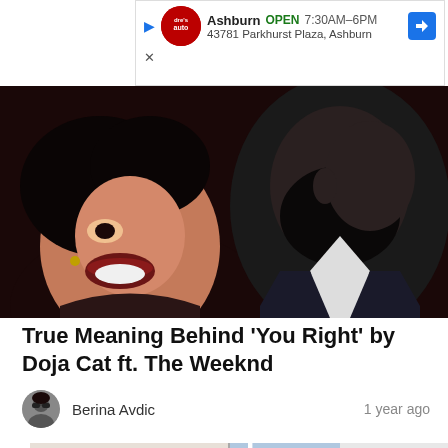[Figure (infographic): Advertisement bar for Dre's Auto in Ashburn showing OPEN 7:30AM-6PM, address 43781 Parkhurst Plaza, Ashburn, with logo, navigation arrow, play button, and X close button]
[Figure (illustration): Illustrated/artistic hero image showing two close-up animated figures - a woman with dark lipstick and a man with a beard, in a dramatic pose, dark tones]
True Meaning Behind 'You Right' by Doja Cat ft. The Weeknd
Berina Avdic
1 year ago
[Figure (photo): Bottom image showing a man in a red cap and striped shirt seated, next to a panel with 'RACIST' text on blue background, and another figure on right side, with a green 'Post a Meaning' button overlay]